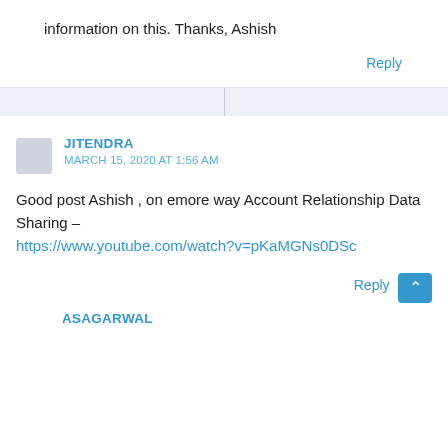information on this. Thanks, Ashish
Reply
JITENDRA
MARCH 15, 2020 AT 1:56 AM
Good post Ashish , on emore way Account Relationship Data Sharing – https://www.youtube.com/watch?v=pKaMGNs0DSc
Reply
ASAGARWAL